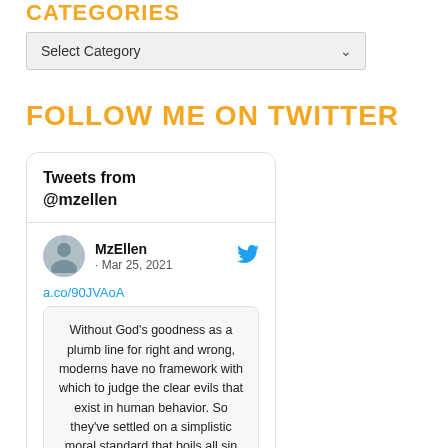CATEGORIES
Select Category
FOLLOW ME ON TWITTER
[Figure (screenshot): Twitter widget showing 'Tweets from @mzellen' with a tweet by MzEllen dated Mar 25, 2021, linking to a.co/90JVAoA, with a quoted text: 'Without God’s goodness as a plumb line for right and wrong, moderns have no framework with which to judge the clear evils that exist in human behavior. So they’ve settled on a simplistic moral standard that boils all sin']